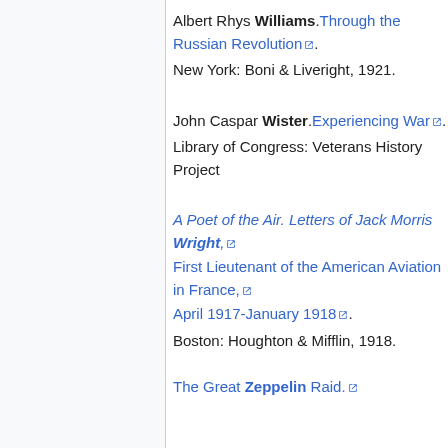Albert Rhys Williams. Through the Russian Revolution. New York: Boni & Liveright, 1921.
John Caspar Wister. Experiencing War. Library of Congress: Veterans History Project
A Poet of the Air. Letters of Jack Morris Wright, First Lieutenant of the American Aviation in France, April 1917-January 1918. Boston: Houghton & Mifflin, 1918.
The Great Zeppelin Raid.